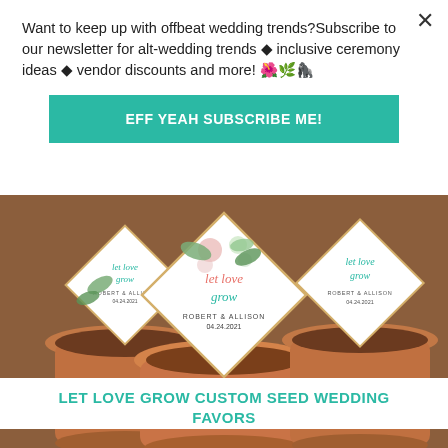Want to keep up with offbeat wedding trends?Subscribe to our newsletter for alt-wedding trends • inclusive ceremony ideas • vendor discounts and more! 🌺🌿🤍
EFF YEAH SUBSCRIBE ME!
[Figure (photo): Three terra cotta flower pots containing white diamond-shaped cards reading 'let love grow' with floral design, personalized with 'ROBERT & ALLISON 04.24.2021']
LET LOVE GROW CUSTOM SEED WEDDING FAVORS